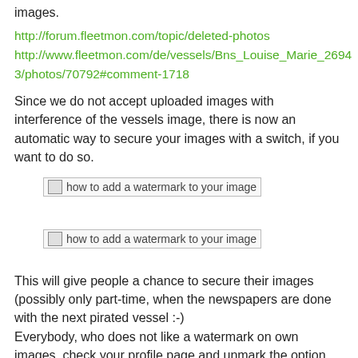images.
http://forum.fleetmon.com/topic/deleted-photos
http://www.fleetmon.com/de/vessels/Bns_Louise_Marie_26943/photos/70792#comment-1718
Since we do not accept uploaded images with interference of the vessels image, there is now an automatic way to secure your images with a switch, if you want to do so.
[Figure (other): Broken image placeholder: how to add a watermark to your image]
[Figure (other): Broken image placeholder: how to add a watermark to your image]
This will give people a chance to secure their images (possibly only part-time, when the newspapers are done with the next pirated vessel :-)
Everybody, who does not like a watermark on own images, check your profile page and unmark the option. We still prefer vessel images without extra watermarks in high resolution on this site.